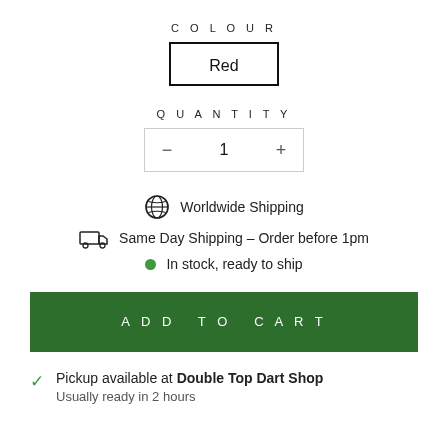COLOUR
Red
QUANTITY
− 1 +
Worldwide Shipping
Same Day Shipping – Order before 1pm
In stock, ready to ship
ADD TO CART
Pickup available at Double Top Dart Shop
Usually ready in 2 hours